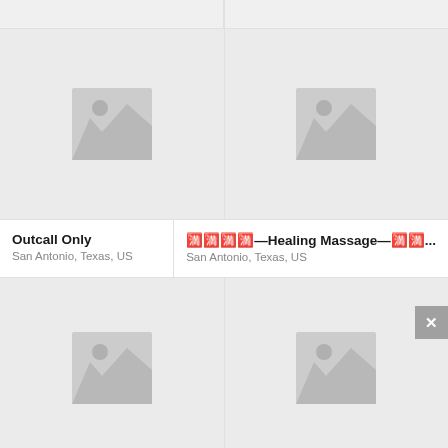[Figure (screenshot): Top partial strip of two card placeholders, mostly cropped]
[Figure (photo): Placeholder image with mountain/photo icon]
Outcall Only
San Antonio, Texas, US
[Figure (photo): Placeholder image with mountain/photo icon]
🈵🈵🈵🈵—Healing Massage—🈵🈵...
San Antonio, Texas, US
[Figure (photo): Placeholder image with mountain/photo icon]
[Figure (photo): Placeholder image with mountain/photo icon]